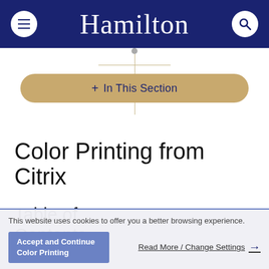Hamilton
+ In This Section
Color Printing from Citrix
Table of Contents
This website uses cookies to offer you a better browsing experience.
Accept and Continue
Color Printing
Read More / Change Settings